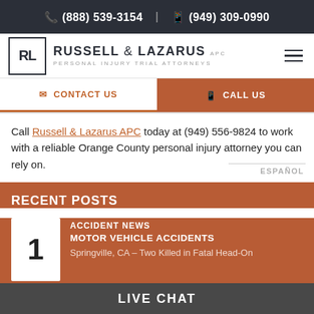(888) 539-3154 | (949) 309-0990
[Figure (logo): Russell & Lazarus APC Personal Injury Trial Attorneys logo with RL monogram in bordered box]
CONTACT US | CALL US
Call Russell & Lazarus APC today at (949) 556-9824 to work with a reliable Orange County personal injury attorney you can rely on.
ESPANOL
RECENT POSTS
1 ACCIDENT NEWS MOTOR VEHICLE ACCIDENTS Springville, CA – Two Killed in Fatal Head-On
LIVE CHAT